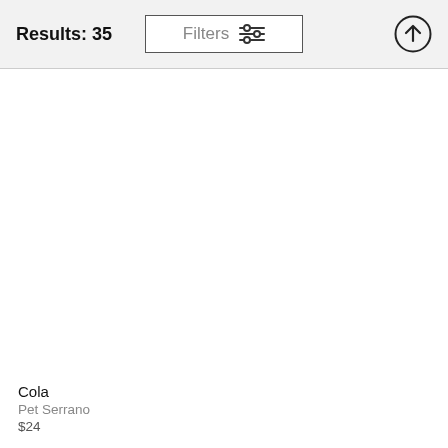Results: 35
Filters
Cola
Pet Serrano
$24